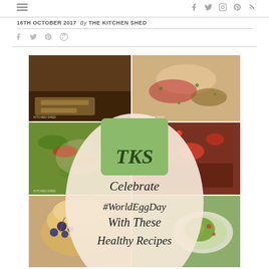16TH OCTOBER 2017  By THE KITCHEN SHED
[Figure (photo): Collage of egg-based recipes with a central oval logo overlay reading 'TKS Celebrate #WorldEggDay With These Healthy Recipes'. Shows four food photos: a dark bread/toast (top left), a flatbread with herbs (top right), a veggie pizza/tart (middle left), a tomato-topped dish (middle right), blueberry pancakes (bottom left), avocado dish (bottom right).]